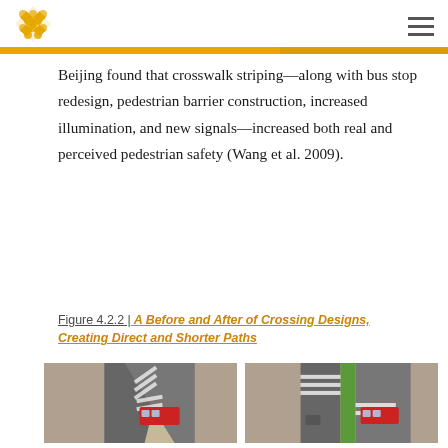Beijing found that crosswalk striping—along with bus stop redesign, pedestrian barrier construction, increased illumination, and new signals—increased both real and perceived pedestrian safety (Wang et al. 2009).
Figure 4.2.2 | A Before and After of Crossing Designs, Creating Direct and Shorter Paths
[Figure (illustration): Two side-by-side aerial illustrations of a road intersection. Left image shows a before state with diagonal pedestrian paths and no green median. Right image shows an after state with straight crosswalks and a green landscaped median strip added, creating shorter and more direct pedestrian crossing paths. Both images show vehicles including a red bus on the road.]